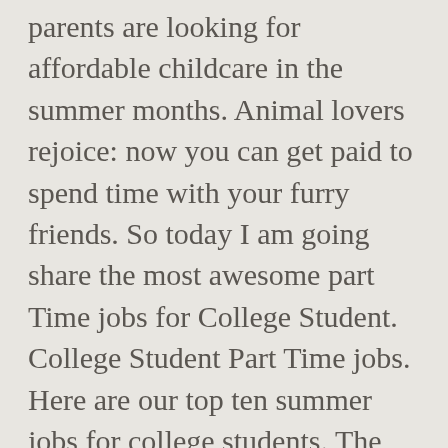parents are looking for affordable childcare in the summer months. Animal lovers rejoice: now you can get paid to spend time with your furry friends. So today I am going share the most awesome part Time jobs for College Student. College Student Part Time jobs. Here are our top ten summer jobs for college students. The Division is structured into four sections that work together to ensure. Barista. In an effort to help you enjoy some of the same benefits, I've put together a list of the best online jobs for college students. 1. Online Survey Jobs. The best part-time jobs for college students pay more than minimum wage, allowing you to cover some of your living costs or even reduce the amount you